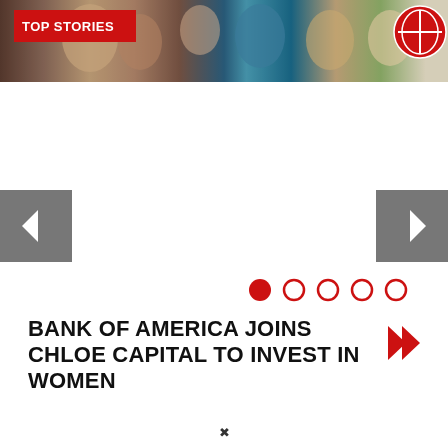[Figure (photo): Top Stories banner with photos of women at an event, overlaid with red 'TOP STORIES' label and a circular navigation icon in the top right corner]
[Figure (screenshot): Left navigation arrow (gray square with white left-pointing triangle)]
[Figure (screenshot): Right navigation arrow (gray square with white right-pointing triangle)]
[Figure (infographic): Carousel pagination dots: one filled red circle followed by four empty red circles]
BANK OF AMERICA JOINS CHLOE CAPITAL TO INVEST IN WOMEN